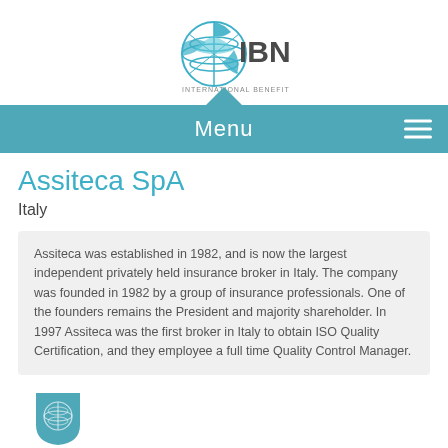[Figure (logo): IBN International Benefits Network logo — globe icon in teal/dark teal with 'IBN' in dark grey and 'INTERNATIONAL BENEFITS NETWORK' subtitle]
Menu
Assiteca SpA
Italy
Assiteca was established in 1982, and is now the largest independent privately held insurance broker in Italy. The company was founded in 1982 by a group of insurance professionals. One of the founders remains the President and majority shareholder. In 1997 Assiteca was the first broker in Italy to obtain ISO Quality Certification, and they employee a full time Quality Control Manager.
[Figure (logo): IBN shield/badge icon in teal with globe pattern]